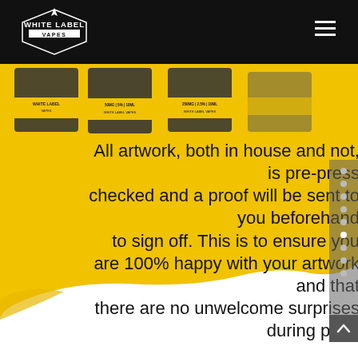White Label Vapes
[Figure (photo): Product vape bottles with yellow/black labels showing 50MG|5%|10ML and 250MG|2.5%|10ML on a yellow background]
All artwork, both in house and not, is pre-press checked and a proof will be sent to you beforehand to sign off. This is to ensure you are 100% happy with your artwork and that there are no unwelcome surprises during print.